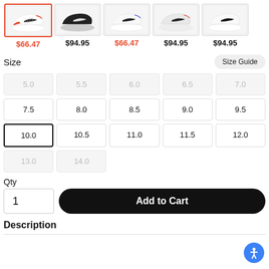[Figure (photo): Row of 5 Nike shoe product thumbnails with prices. First shoe (white/red) selected with red border priced $66.47 (red), second (black) $94.95, third (white/blue) $66.47 (red), fourth (white) $94.95, fifth (white) $94.95]
Size
Size Guide
5.0  5.5  6.0  6.5  7.0  7.5  8.0  8.5  9.0  9.5  10.0 (selected)  10.5  11.0  11.5  12.0  13.0  14.0
Qty
1
Add to Cart
Description